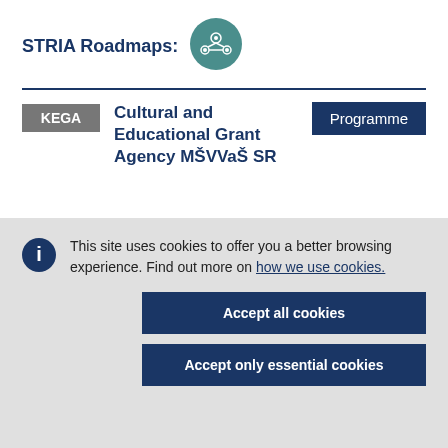STRIA Roadmaps:
[Figure (logo): STRIA Roadmaps circular teal icon with network/technology graphic]
KEGA  Cultural and Educational Grant Agency MŠVVaŠ SR  Programme
This site uses cookies to offer you a better browsing experience. Find out more on how we use cookies.
Accept all cookies
Accept only essential cookies